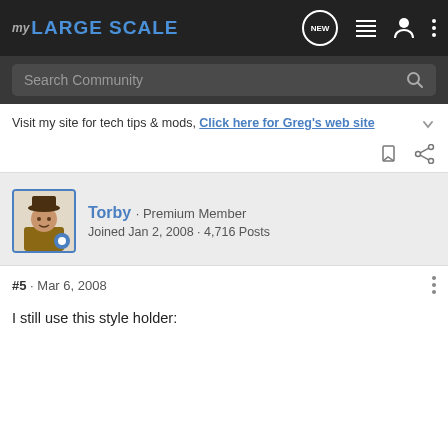MY LARGE SCALE
Search Community
Visit my site for tech tips & mods, Click here for Greg's web site
Torby · Premium Member
Joined Jan 2, 2008 · 4,716 Posts
#5 · Mar 6, 2008
I still use this style holder: